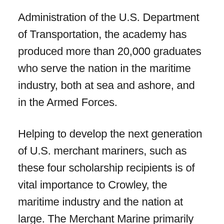Administration of the U.S. Department of Transportation, the academy has produced more than 20,000 graduates who serve the nation in the maritime industry, both at sea and ashore, and in the Armed Forces.
Helping to develop the next generation of U.S. merchant mariners, such as these four scholarship recipients is of vital importance to Crowley, the maritime industry and the nation at large. The Merchant Marine primarily transports cargo and passengers during peacetime.  In times of war, the Merchant Marine can be an auxiliary to the U.S. Navy,